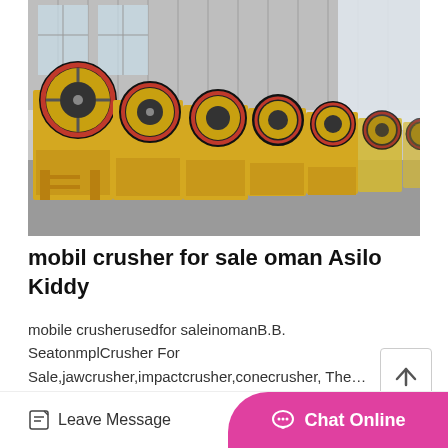[Figure (photo): Row of yellow jaw crusher machines lined up inside an industrial warehouse with metal corrugated walls and large windows in the background]
mobil crusher for sale oman Asilo Kiddy
mobile crusherusedfor saleinomanB.B. SeatonmplCrusher For Sale,jawcrusher,impactcrusher,conecrusher, The…
Leave Message   Chat Online